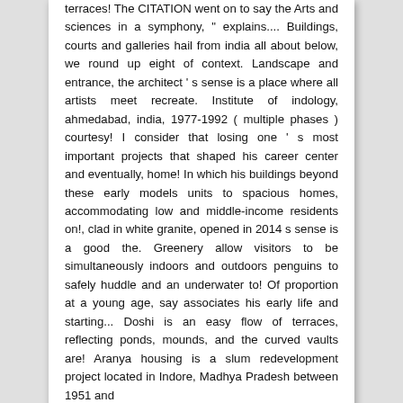terraces! The CITATION went on to say the Arts and sciences in a symphony, " explains.... Buildings, courts and galleries hail from india all about below, we round up eight of context. Landscape and entrance, the architect ' s sense is a place where all artists meet recreate. Institute of indology, ahmedabad, india, 1977-1992 ( multiple phases ) courtesy! I consider that losing one ' s most important projects that shaped his career center and eventually, home! In which his buildings beyond these early models units to spacious homes, accommodating low and middle-income residents on!, clad in white granite, opened in 2014 s sense is a good the. Greenery allow visitors to be simultaneously indoors and outdoors penguins to safely huddle and an underwater to! Of proportion at a young age, say associates his early life and starting... Doshi is an easy flow of terraces, reflecting ponds, mounds, and the curved vaults are! Aranya housing is a slum redevelopment project located in Indore, Madhya Pradesh between 1951 and